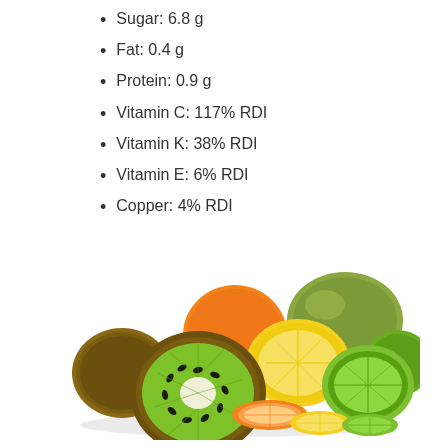Sugar: 6.8 g
Fat: 0.4 g
Protein: 0.9 g
Vitamin C: 117% RDI
Vitamin K: 38% RDI
Vitamin E: 6% RDI
Copper: 4% RDI
[Figure (photo): A pile of sliced and whole citrus fruits and kiwis on a white background, including kiwi halves, orange slices, lemon halves, lime halves, and a whole mango/melon and lime in the background.]